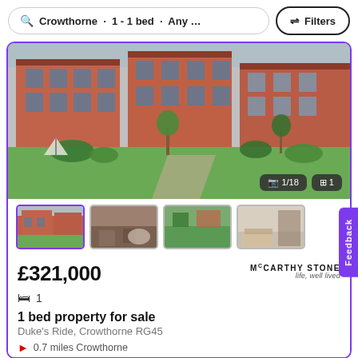Crowthorne · 1 - 1 bed · Any ...    ⇌ Filters
[Figure (photo): Exterior photo of brick apartment building with landscaped courtyard garden]
[Figure (photo): Four thumbnail photos of the property]
£321,000
McCARTHY STONE life, well lived
🛏 1
1 bed property for sale
Duke's Ride, Crowthorne RG45
0.7 miles Crowthorne